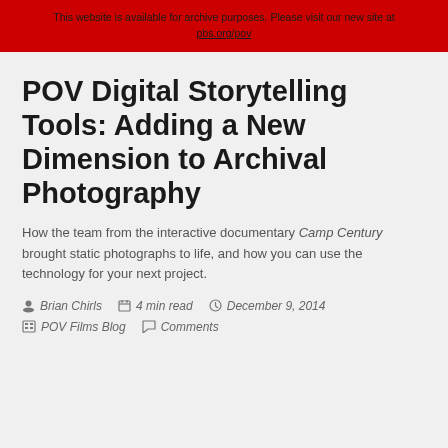This website is available for archive purposes. Please visit our new site at pbs.org/pov
POV Digital Storytelling Tools: Adding a New Dimension to Archival Photography
How the team from the interactive documentary Camp Century brought static photographs to life, and how you can use the technology for your next project.
Brian Chirls   4 min read   December 9, 2014   POV Films Blog   Comments